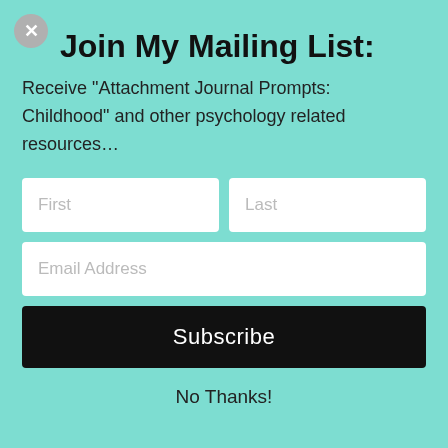Join My Mailing List:
Receive "Attachment Journal Prompts: Childhood" and other psychology related resources...
[Figure (screenshot): A web form with First and Last name fields side by side, an Email Address field, a Subscribe button, and a No Thanks link on a teal background.]
No Thanks!